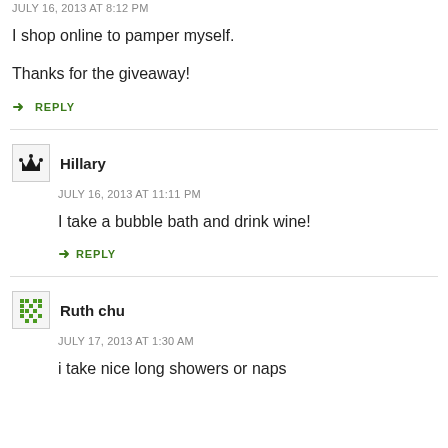JULY 16, 2013 AT 8:12 PM
I shop online to pamper myself.
Thanks for the giveaway!
↳ REPLY
Hillary
JULY 16, 2013 AT 11:11 PM
I take a bubble bath and drink wine!
↳ REPLY
Ruth chu
JULY 17, 2013 AT 1:30 AM
i take nice long showers or naps